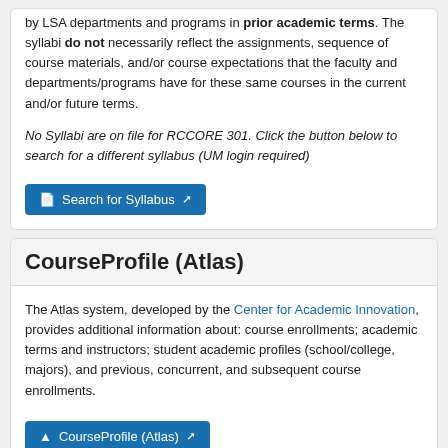by LSA departments and programs in prior academic terms. The syllabi do not necessarily reflect the assignments, sequence of course materials, and/or course expectations that the faculty and departments/programs have for these same courses in the current and/or future terms.
No Syllabi are on file for RCCORE 301. Click the button below to search for a different syllabus (UM login required)
Search for Syllabus
CourseProfile (Atlas)
The Atlas system, developed by the Center for Academic Innovation, provides additional information about: course enrollments; academic terms and instructors; student academic profiles (school/college, majors), and previous, concurrent, and subsequent course enrollments.
CourseProfile (Atlas)